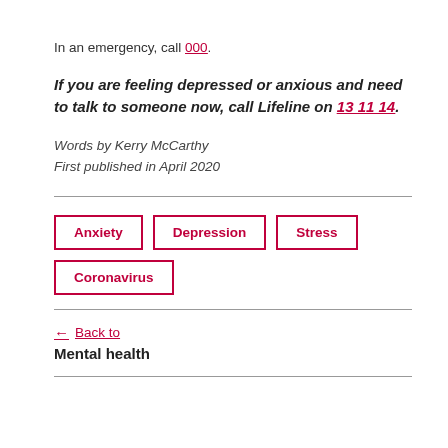In an emergency, call 000.
If you are feeling depressed or anxious and need to talk to someone now, call Lifeline on 13 11 14.
Words by Kerry McCarthy
First published in April 2020
Anxiety
Depression
Stress
Coronavirus
← Back to
Mental health